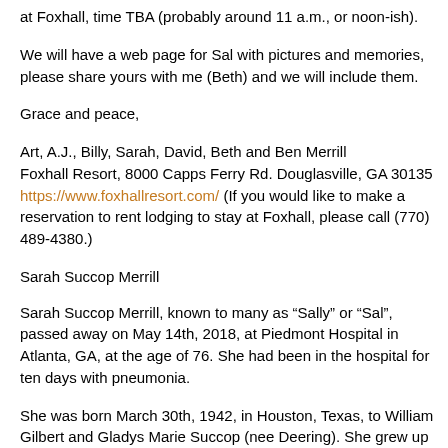at Foxhall, time TBA (probably around 11 a.m., or noon-ish).
We will have a web page for Sal with pictures and memories, please share yours with me (Beth) and we will include them.
Grace and peace,
Art, A.J., Billy, Sarah, David, Beth and Ben Merrill
Foxhall Resort, 8000 Capps Ferry Rd. Douglasville, GA 30135
https://www.foxhallresort.com/ (If you would like to make a reservation to rent lodging to stay at Foxhall, please call (770) 489-4380.)
Sarah Succop Merrill
Sarah Succop Merrill, known to many as “Sally” or “Sal”, passed away on May 14th, 2018, at Piedmont Hospital in Atlanta, GA, at the age of 76. She had been in the hospital for ten days with pneumonia.
She was born March 30th, 1942, in Houston, Texas, to William Gilbert and Gladys Marie Succop (nee Deering). She grew up as one of eleven children on her parents’ farm in Butler, Pennsylvania.